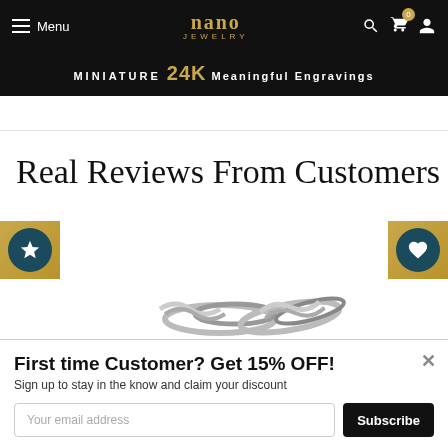Menu | nano JEWELRY | (search) (cart 0) (account)
MINIATURE 24K Meaningful Engravings
Real Reviews From Customers
[Figure (photo): Silver chain jewelry displayed on white background]
First time Customer? Get 15% OFF!
Sign up to stay in the know and claim your discount
Your email address
Subscribe
Share with your friends